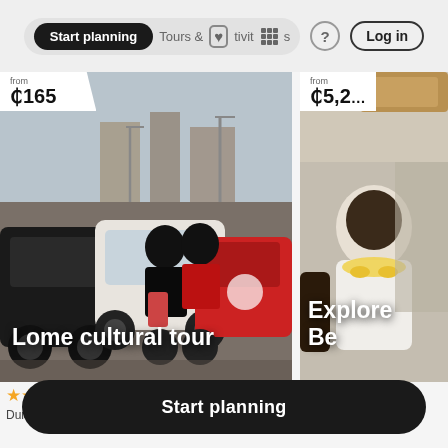Start planning | Tours & Activities | ? | Log in
[Figure (photo): Street scene in Lome with motorcycles and cars in traffic, with text overlay 'Lome cultural tour' and price badge 'from ₵165']
[Figure (photo): Partial photo of cultural event/ceremony in Benin with text overlay 'Explore Be...' and price badge 'from ₵5,2...']
★★★★★ 5.0
★★★★★ 5.0
Start planning